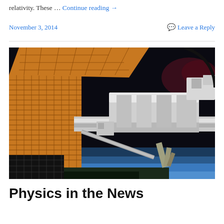relativity. These … Continue reading →
November 3, 2014   Leave a Reply
[Figure (photo): Photograph of the International Space Station exterior with solar panels, robotic arm, and Earth's blue horizon visible in the background against black space]
Physics in the News